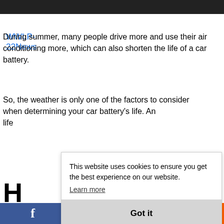[Figure (photo): Dark photo strip at top of page, partially visible]
WWLP-22News
During summer, many people drive more and use their air conditioning more, which can also shorten the life of a car battery.
So, the weather is only one of the factors to consider when determining your car battery's life. An life
H la
If v
This website uses cookies to ensure you get the best experience on our website.
Learn more
Got it